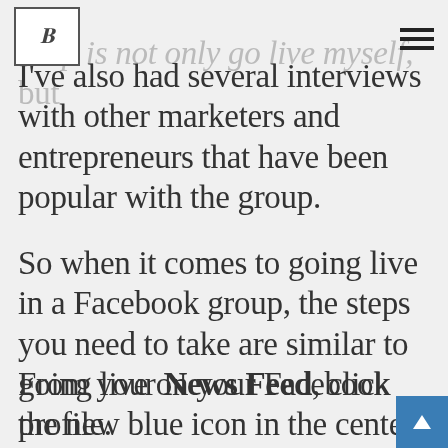[Logo] [Hamburger menu]
roup is not only go live myself, but I've also had several interviews with other marketers and entrepreneurs that have been popular with the group.
So when it comes to going live in a Facebook group, the steps you need to take are similar to going live on your Facebook profile.
From your News Feed, click the new blue icon in the center bottom